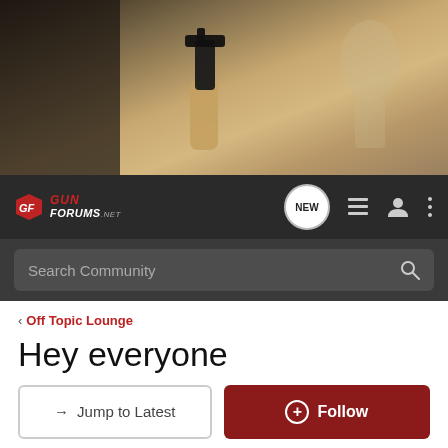[Figure (photo): Hero banner showing a hand holding a pistol at a shooting range, blurred target silhouette in background]
GUN FORUMS.NET navigation bar with NEW button, list icon, user icon, and menu icon
Search Community
< Off Topic Lounge
Hey everyone
→ Jump to Latest
+ Follow
1 - 11 of 11 Posts
Pred@tor · Registered
Joined Feb 13, 2006 · 8 Posts